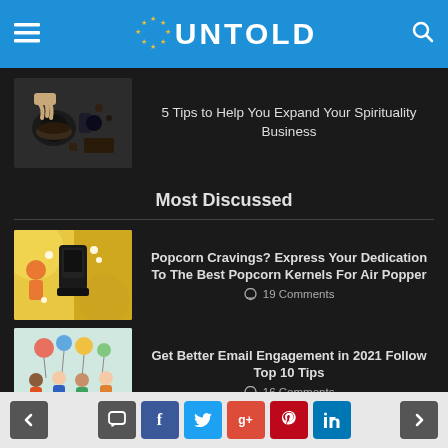UNTOLD
[Figure (photo): Overhead view of spirituality/wellness items like crystals and candles]
5 Tips to Help You Expand Your Spirituality Business
Most Discussed
[Figure (photo): Popcorn machine on colorful background]
Popcorn Cravings? Express Your Dedication To The Best Popcorn Kernels For Air Popper
19 Comments
[Figure (photo): Group of illustrated people with balloons]
Get Better Email Engagement in 2021 Follow Top 10 Tips
16 Comments
[Figure (photo): People joining hands together — startup teamwork concept]
Amazing Startup Business Ideas That'll Make You Billionaire
< social share buttons >